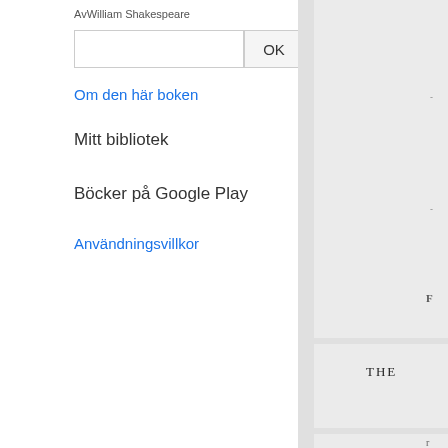AvWilliam Shakespeare
[Figure (screenshot): Search input box and OK button]
Om den här boken
Mitt bibliotek
Böcker på Google Play
Användningsvillkor
[Figure (screenshot): Right panel with partially visible book pages showing 'THE' text and decorative elements on grey background]